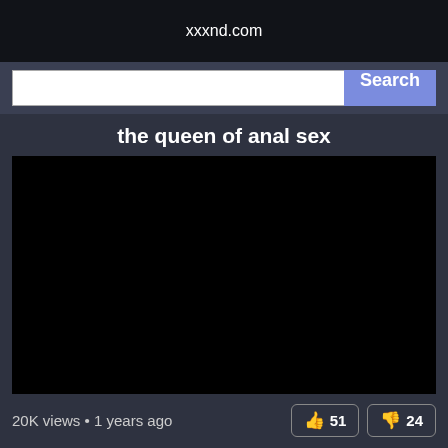xxxnd.com
Search
the queen of anal sex
[Figure (other): Black video player area, no content visible]
20K views • 1 years ago
51 likes, 24 dislikes